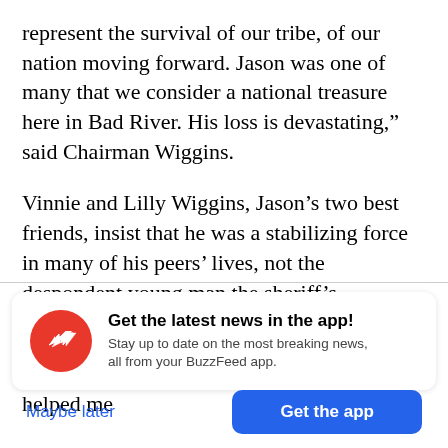represent the survival of our tribe, of our nation moving forward. Jason was one of many that we consider a national treasure here in Bad River. His loss is devastating," said Chairman Wiggins.
Vinnie and Lilly Wiggins, Jason's two best friends, insist that he was a stabilizing force in many of his peers' lives, not the despondent young man the sheriff's department described.
“I struggle a lot with depression. And he helped me
[Figure (infographic): BuzzFeed app notification card with red circle logo containing white arrow, title 'Get the latest news in the app!', subtitle 'Stay up to date on the most breaking news, all from your BuzzFeed app.', and two buttons: 'Maybe later' in blue text and 'Get the app' in a blue rounded rectangle.]